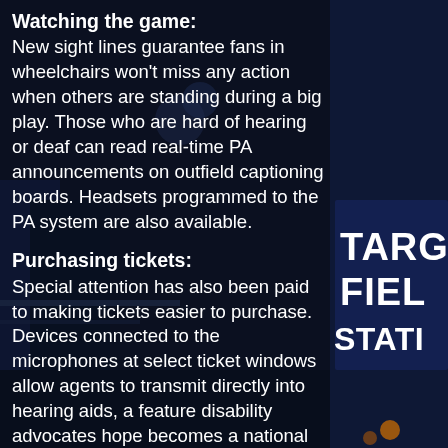Watching the game:
New sight lines guarantee fans in wheelchairs won't miss any action when others are standing during a big play. Those who are hard of hearing or deaf can read real-time PA announcements on outfield captioning boards. Headsets programmed to the PA system are also available.
Purchasing tickets:
Special attention has also been paid to making tickets easier to purchase. Devices connected to the microphones at select ticket windows allow agents to transmit directly into hearing aids, a feature disability advocates hope becomes a national building standard. Speaker boxes at all ticket windows are set below the agent's mouth so those who are deaf or hard of hearing can read lips. Automated ticketing machines are wheelchair
[Figure (photo): Night-time exterior photo of Target Field Station with stadium signage visible on the right side showing 'TARGET FIELD STATION' in large white letters on a blue background.]